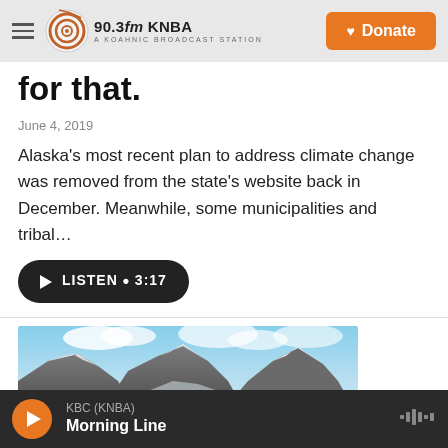90.3fm KNBA A KOAHNIC BROADCAST STATION | Donate
for that.
June 4, 2019
Alaska's most recent plan to address climate change was removed from the state's website back in December. Meanwhile, some municipalities and tribal…
LISTEN • 3:17
[Figure (photo): Mountain landscape with snow-covered peaks and blue sky with clouds]
KBC (KNBA) Morning Line